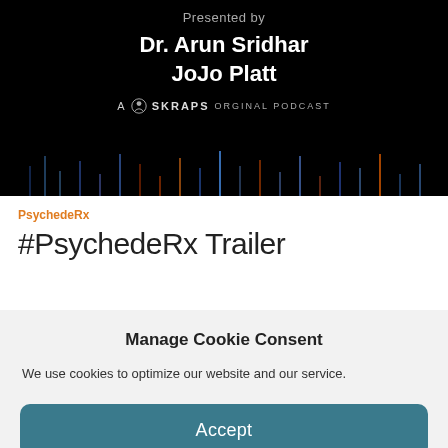[Figure (screenshot): Podcast cover image with black background. Text reads 'Presented by' in gray, then 'Dr. Arun Sridhar / JoJo Platt' in white bold, followed by 'A SKRAPS ORIGINAL PODCAST' with logo. Bottom portion shows colorful audio waveform visualization on black background.]
PsychedeRx
#PsychedeRx Trailer
Manage Cookie Consent
We use cookies to optimize our website and our service.
Accept